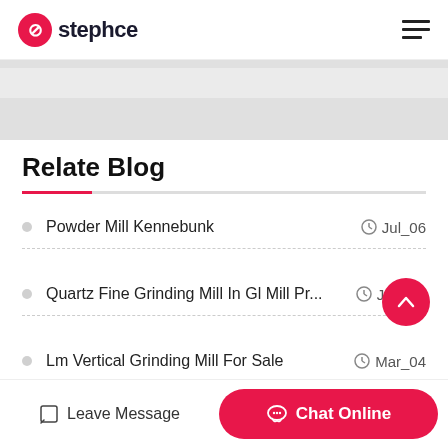stephce
Relate Blog
Powder Mill Kennebunk   Jul_06
Quartz Fine Grinding Mill In Gl Mill Pr...   Jan_26
Lm Vertical Grinding Mill For Sale   Mar_04
Leave Message  Chat Online